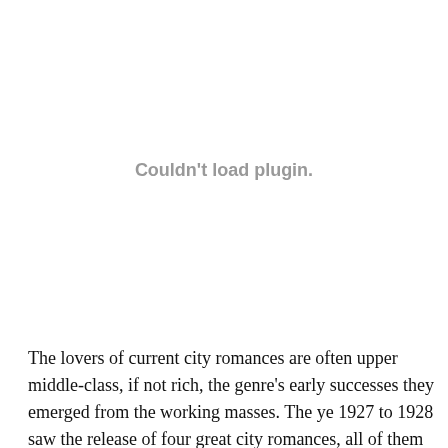[Figure (other): Couldn't load plugin. placeholder area showing a failed plugin/media embed.]
The lovers of current city romances are often upper middle-class, if not rich, the genre's early successes they emerged from the working masses. The ye 1927 to 1928 saw the release of four great city romances, all of them about